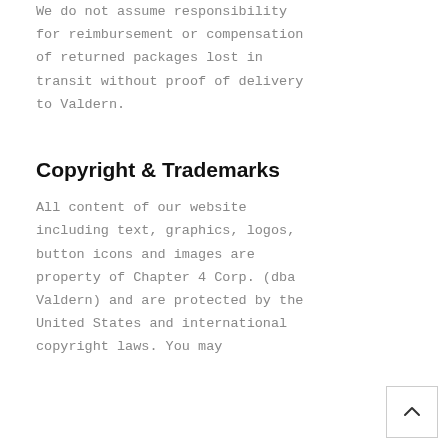We do not assume responsibility for reimbursement or compensation of returned packages lost in transit without proof of delivery to Valdern.
Copyright & Trademarks
All content of our website including text, graphics, logos, button icons and images are property of Chapter 4 Corp. (dba Valdern) and are protected by the United States and international copyright laws. You may